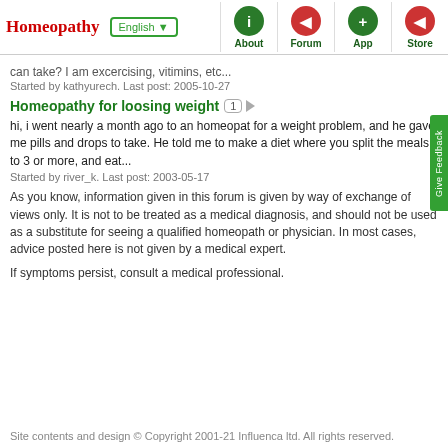Homeopathy | English | About | Forum | App | Store
can take? I am excercising, vitimins, etc...
Started by kathyurech. Last post: 2005-10-27
Homeopathy for loosing weight 1
hi, i went nearly a month ago to an homeopat for a weight problem, and he gave me pills and drops to take. He told me to make a diet where you split the meals to 3 or more, and eat...
Started by river_k. Last post: 2003-05-17
As you know, information given in this forum is given by way of exchange of views only. It is not to be treated as a medical diagnosis, and should not be used as a substitute for seeing a qualified homeopath or physician. In most cases, advice posted here is not given by a medical expert.
If symptoms persist, consult a medical professional.
Site contents and design © Copyright 2001-21 Influenca ltd. All rights reserved.